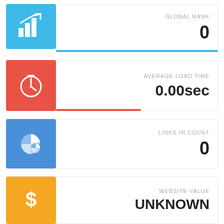[Figure (infographic): Blue icon box with trending graph icon]
GLOBAL RANK
0
[Figure (infographic): Red icon box with clock icon]
AVERAGE LOAD TIME
0.00sec
[Figure (infographic): Blue icon box with pie chart icon]
LINKS IN COUNT
0
[Figure (infographic): Orange icon box with dollar sign icon]
WEBSITE VALUE
UNKNOWN